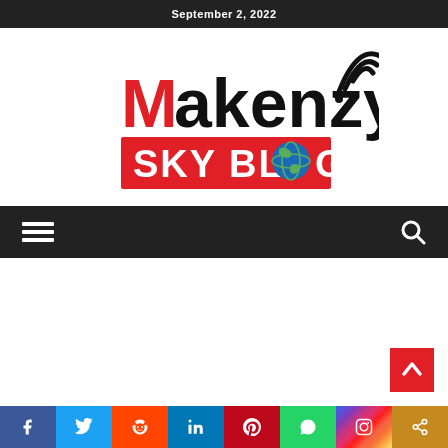September 2, 2022
[Figure (logo): Makenzy Sky Blog logo — 'Makenzy' in red/black lettering with WiFi signal arcs, over a red rectangle with white text 'SKY BLOG' and a globe icon replacing the 'O']
[Figure (infographic): Dark navigation bar with hamburger menu icon on the left and search icon on the right]
[Figure (infographic): Social media share bar at the bottom: Facebook, Twitter, Reddit, LinkedIn, Pinterest, WhatsApp, Instagram, Share]
[Figure (infographic): Red back-to-top button with upward chevron arrow in bottom right corner]